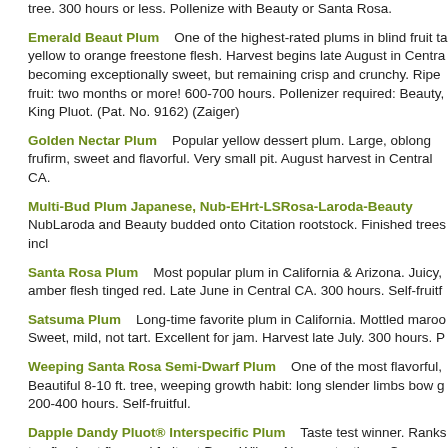tree. 300 hours or less. Pollenize with Beauty or Santa Rosa.
Emerald Beaut Plum    One of the highest-rated plums in blind fruit tastings. Yellow to orange freestone flesh. Harvest begins late August in Central CA., becoming exceptionally sweet, but remaining crisp and crunchy. Ripe fruit: two months or more! 600-700 hours. Pollenizer required: Beauty, King Pluot. (Pat. No. 9162) (Zaiger)
Golden Nectar Plum    Popular yellow dessert plum. Large, oblong fruit, firm, sweet and flavorful. Very small pit. August harvest in Central CA.
Multi-Bud Plum Japanese, Nub-EHrt-LSRosa-Laroda-Beauty    Nub-EHrt, Laroda and Beauty budded onto Citation rootstock. Finished trees incl
Santa Rosa Plum    Most popular plum in California & Arizona. Juicy, amber flesh tinged red. Late June in Central CA. 300 hours. Self-fruitful.
Satsuma Plum    Long-time favorite plum in California. Mottled maroon. Sweet, mild, not tart. Excellent for jam. Harvest late July. 300 hours. P
Weeping Santa Rosa Semi-Dwarf Plum    One of the most flavorful. Beautiful 8-10 ft. tree, weeping growth habit: long slender limbs bow gently. 200-400 hours. Self-fruitful.
Dapple Dandy Pluot® Interspecific Plum    Taste test winner. Ranks in top five best flavored fruits at Dave Wilson Nursery tastings. Creamy with wonderful plum-apricot flavor. Skin greenish-yellow with red spots, turns harvest in Central CA. 400-500 hours. Pollenized by Flavor Supreme Pluot, Catalina or Burgundy Plum. (Pat. No. 9254) (Zaiger)
Emerald Drop Pluot® Interspecific Plum    Medium to large fruit with. Prolonged harvest: early picked fruit is firm, yet juicy and sweet; left